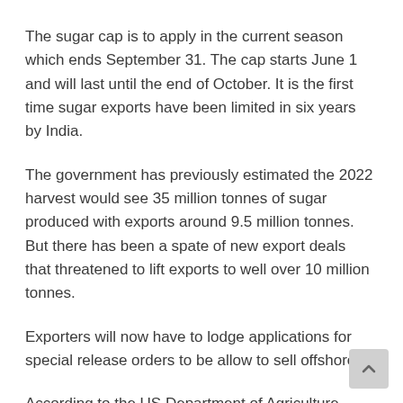The sugar cap is to apply in the current season which ends September 31. The cap starts June 1 and will last until the end of October. It is the first time sugar exports have been limited in six years by India.
The government has previously estimated the 2022 harvest would see 35 million tonnes of sugar produced with exports around 9.5 million tonnes. But there has been a spate of new export deals that threatened to lift exports to well over 10 million tonnes.
Exporters will now have to lodge applications for special release orders to be allow to sell offshore.
According to the US Department of Agriculture Australian sugar production and exports are both forecast to rise in the